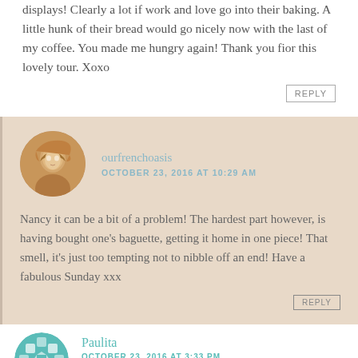displays! Clearly a lot if work and love go into their baking. A little hunk of their bread would go nicely now with the last of my coffee. You made me hungry again! Thank you fior this lovely tour. Xoxo
REPLY
ourfrenchoasis
OCTOBER 23, 2016 AT 10:29 AM
Nancy it can be a bit of a problem! The hardest part however, is having bought one's baguette, getting it home in one piece! That smell, it's just too tempting not to nibble off an end! Have a fabulous Sunday xxx
REPLY
Paulita
OCTOBER 23, 2016 AT 3:33 PM